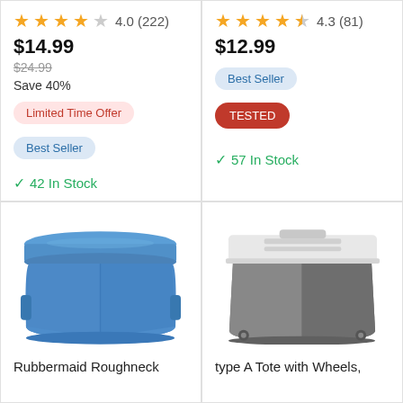4.0 (222)
$14.99
$24.99 (strikethrough)
Save 40%
Limited Time Offer
Best Seller
✓ 42 In Stock
4.3 (81)
$12.99
Best Seller
TESTED
✓ 57 In Stock
[Figure (photo): Blue plastic storage tote with lid (Rubbermaid Roughneck)]
Rubbermaid Roughneck
[Figure (photo): Gray plastic storage tote with white lid and wheels]
type A Tote with Wheels,